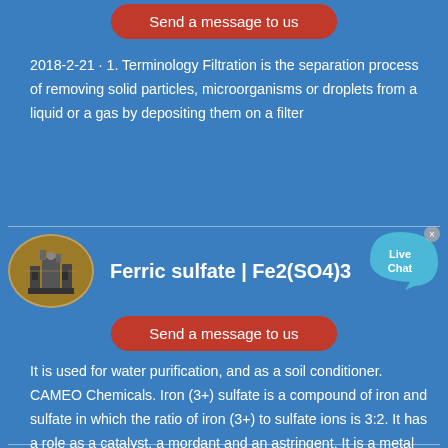[Figure (other): Red rounded button labeled 'Send a message to us']
2018-2-21 · 1. Terminology Filtration is the separation process of removing solid particles, microorganisms or droplets from a liquid or a gas by depositing them on a filter
[Figure (other): Oval thumbnail image of industrial equipment/machinery, with title 'Ferric sulfate | Fe2(SO4)3' and a Live Chat bubble badge in top right]
[Figure (other): Red rounded button labeled 'Send a message to us']
It is used for water purification, and as a soil conditioner. CAMEO Chemicals. Iron (3+) sulfate is a compound of iron and sulfate in which the ratio of iron (3+) to sulfate ions is 3:2. It has a role as a catalyst, a mordant and an astringent. It is a metal sulfate and an iron molecular entity. It ...